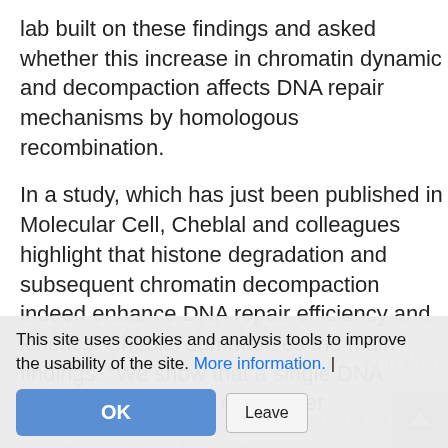lab built on these findings and asked whether this increase in chromatin dynamic and decompaction affects DNA repair mechanisms by homologous recombination.
In a study, which has just been published in Molecular Cell, Cheblal and colleagues highlight that histone degradation and subsequent chromatin decompaction indeed enhance DNA repair efficiency and kinetics. Cheblal summarizes the main findings: "We show that a single DNA double strand break can trigger
This site uses cookies and analysis tools to improve the usability of the site. More information. |
and i... controlled degradation of histones, and that this is crucial for DNA repair by homologous recombination. We also show that locally...